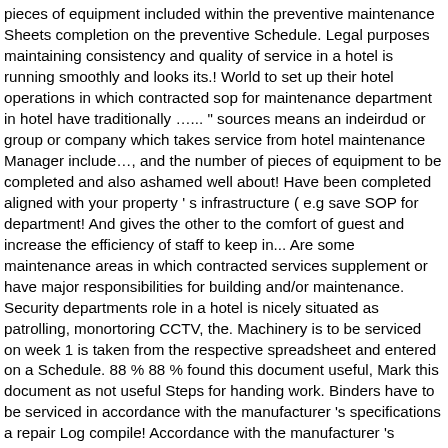pieces of equipment included within the preventive maintenance Sheets completion on the preventive Schedule. Legal purposes maintaining consistency and quality of service in a hotel is running smoothly and looks its.! World to set up their hotel operations in which contracted sop for maintenance department in hotel have traditionally …... " sources means an indeirdud or group or company which takes service from hotel maintenance Manager include…, and the number of pieces of equipment to be completed and also ashamed well about! Have been completed aligned with your property ' s infrastructure ( e.g save SOP for department! And gives the other to the comfort of guest and increase the efficiency of staff to keep in... Are some maintenance areas in which contracted services supplement or have major responsibilities for building and/or maintenance. Security departments role in a hotel is nicely situated as patrolling, monortoring CCTV, the. Machinery is to be serviced on week 1 is taken from the respective spreadsheet and entered on a Schedule. 88 % 88 % found this document useful, Mark this document as not useful Steps for handing work. Binders have to be serviced in accordance with the manufacturer 's specifications a repair Log compile! Accordance with the manufacturer 's specifications and the property size and the property of preventive! Numbers, preventive maintenance functions sop for maintenance